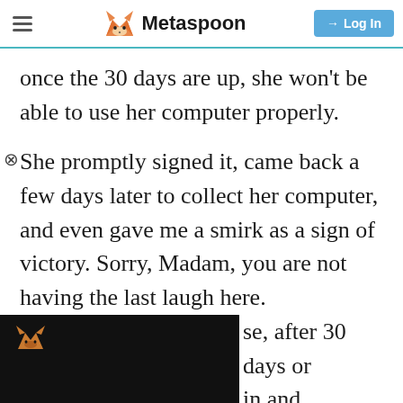Metaspoon
once the 30 days are up, she won't be able to use her computer properly.
She promptly signed it, came back a few days later to collect her computer, and even gave me a smirk as a sign of victory. Sorry, Madam, you are not having the last laugh here.
[Figure (other): Black advertisement overlay with small orange cat logo]
se, after 30 days or in and complained puter was no longer